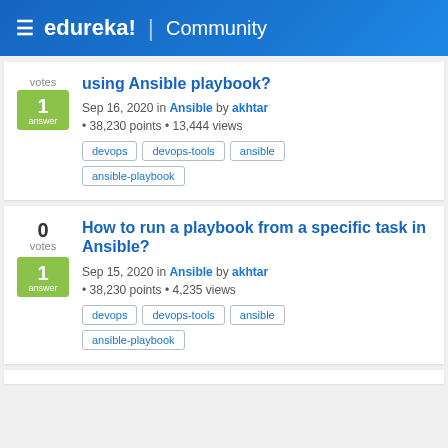≡ edureka! | Community
using Ansible playbook?
Sep 16, 2020 in Ansible by akhtar
• 38,230 points • 13,444 views
devops
devops-tools
ansible
ansible-playbook
How to run a playbook from a specific task in Ansible?
Sep 15, 2020 in Ansible by akhtar
• 38,230 points • 4,235 views
devops
devops-tools
ansible
ansible-playbook